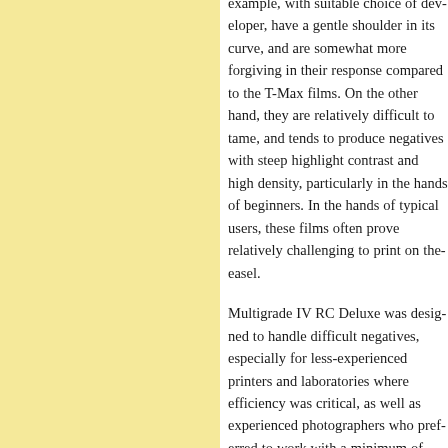example, with suitable choice of developer, have a gentle shoulder in its curve, and are somewhat more forgiving in their response compared to the T-Max films. On the other hand, they are relatively difficult to tame, and tend to produce negatives with steep highlight contrast and high density, particularly in the hands of beginners. In the hands of typical users, these films often prove relatively challenging to print on the easel.
Multigrade IV RC Deluxe was designed to handle difficult negatives, especially for less-experienced printers and laboratories where efficiency was critical, as well as experienced photographers who preferred to work with a minimum of local manipulation. Its curve is heavy-handed: the characteristic curve dips in the midrange, with contrast becoming abruptly higher and extending into the highlights. This compresses the tonal scale of "hot" negatives on to paper.